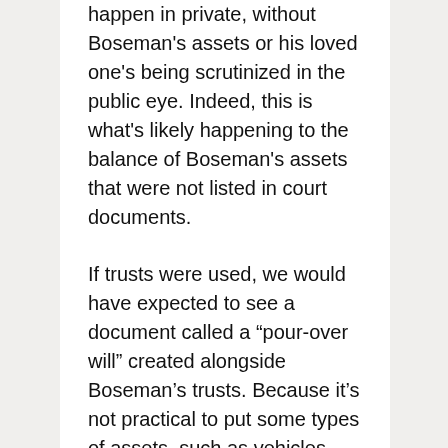happen in private, without Boseman's assets or his loved one's being scrutinized in the public eye. Indeed, this is what's likely happening to the balance of Boseman's assets that were not listed in court documents.
If trusts were used, we would have expected to see a document called a “pour-over will” created alongside Boseman’s trusts. Because it’s not practical to put some types of assets, such as vehicles, into a trust, and it can be challenging to move every single asset into a trust before you pass away, the pour-over will acts as a backup, and we always include a pour-over will with the